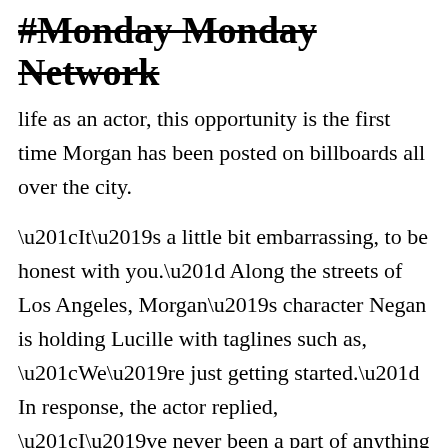#Monday Monday Network
life as an actor, this opportunity is the first time Morgan has been posted on billboards all over the city.
“It’s a little bit embarrassing, to be honest with you.” Along the streets of Los Angeles, Morgan’s character Negan is holding Lucille with taglines such as, “We’re just getting started.” In response, the actor replied, “I’ve never been a part of anything like this, to this extreme, and with this kind of viewership and fan base. It’s a cultural phenomenon. It’s quite bigger than I ever thought, and I watch the